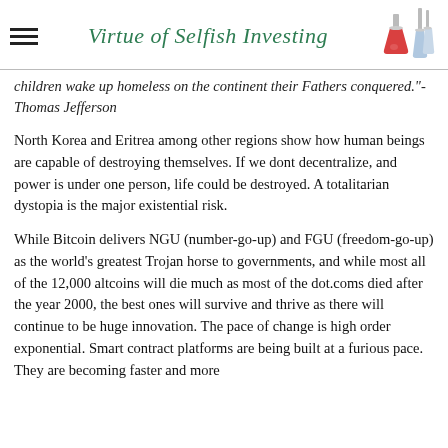Virtue of Selfish Investing
children wake up homeless on the continent their Fathers conquered."- Thomas Jefferson
North Korea and Eritrea among other regions show how human beings are capable of destroying themselves. If we dont decentralize, and power is under one person, life could be destroyed. A totalitarian dystopia is the major existential risk.
While Bitcoin delivers NGU (number-go-up) and FGU (freedom-go-up) as the world's greatest Trojan horse to governments, and while most all of the 12,000 altcoins will die much as most of the dot.coms died after the year 2000, the best ones will survive and thrive as there will continue to be huge innovation. The pace of change is high order exponential. Smart contract platforms are being built at a furious pace. They are becoming faster and more